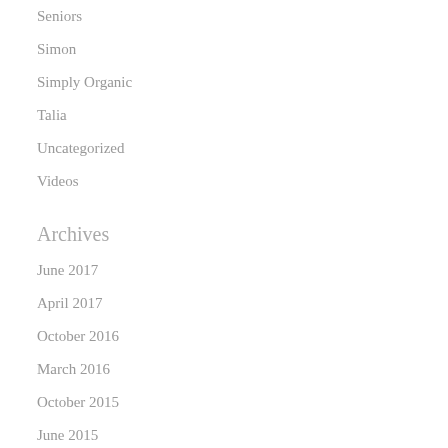Seniors
Simon
Simply Organic
Talia
Uncategorized
Videos
Archives
June 2017
April 2017
October 2016
March 2016
October 2015
June 2015
January 2015
November 2014
October 2014
September 2014
August 2014
July 2014
June 2014